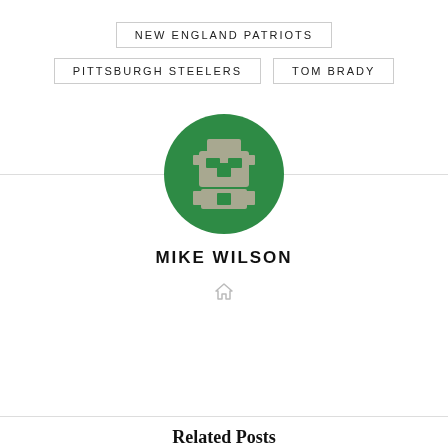NEW ENGLAND PATRIOTS
PITTSBURGH STEELERS
TOM BRADY
[Figure (illustration): Circular green avatar with a pixel-art style robot/alien face icon in gray/beige tones]
MIKE WILSON
[Figure (other): Small gray house/home icon]
Related Posts